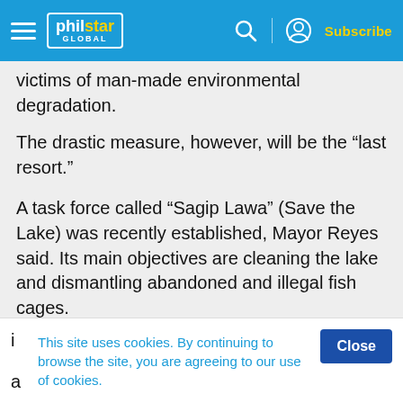philstar GLOBAL — Subscribe
victims of man-made environmental degradation.
The drastic measure, however, will be the “last resort.”
A task force called “Sagip Lawa” (Save the Lake) was recently established, Mayor Reyes said. Its main objectives are cleaning the lake and dismantling abandoned and illegal fish cages.
“For as long as we save Taal Lake, we will conserve not only tawilis but also all of the fisheries resources
This site uses cookies. By continuing to browse the site, you are agreeing to our use of cookies.